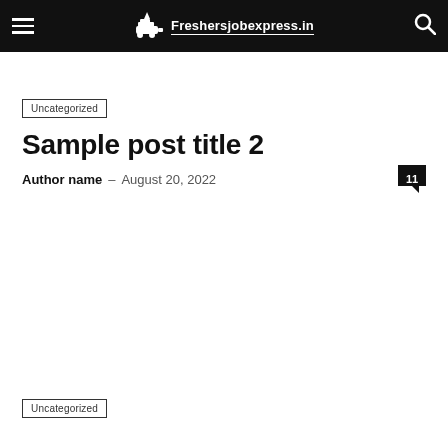Freshersjobexpress.in
Uncategorized
Sample post title 2
Author name – August 20, 2022
Uncategorized